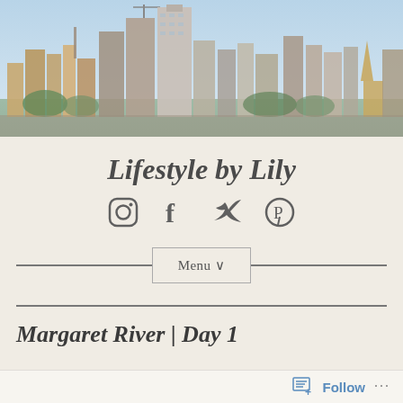[Figure (photo): Aerial panoramic view of city skyline with tall skyscrapers under blue sky]
Lifestyle by Lily
[Figure (infographic): Social media icons: Instagram, Facebook, Twitter, Pinterest]
Menu ∨
Margaret River | Day 1
Follow ...